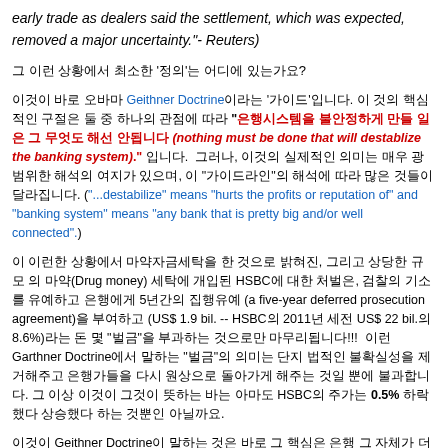early trade as dealers said the settlement, which was expected, removed a major uncertainty."-  Reuters)
그 이런 상황에서 최소한 '정의'는 어디에 있는가요?
이것이 바로 오바마 Geithner Doctrine이라는 '가이드'입니다. 이 것의 핵심적인 구절은 둘 중 하나의 관점에 따라 "은행시스템을 불안정하게 만들 일은 그 무엇도 해선 안됩니다 (nothing must be done that will destablize the banking system)." 입니다.  그러나, 이것의 실제적인 의미는 매우 광범위한 해석의 여지가 있으며, 이 "가이드라인"의 해석에 따라 많은 것들이 달라집니다. ("...destabilize" means "hurts the profits or reputation of" and "banking system" means "any bank that is pretty big and/or well connected".)
이 이런한 상황에서 마약자금세탁을 한 것으로 밝혀진, 그리고 상당한 규모 의 마약(Drug money) 세탁에 개입된 HSBC에 대한 처벌은, 검찰의 기소를 유예하고 은행에게 5년간의 집행유예 (a five-year deferred prosecution agreement)을 부여하고 (US$ 1.9 bil. -- HSBC의 2011년 세전 US$ 22 bil.의 8.6%)라는 돈 몇 "벌금"을 부과하는 것으로만 마무리됩니다!!!  이런 Garthner Doctrine에서 말하는 "벌금"의 의미는 단지 법적인 불확실성을 제거해주고 은행가들을 다시 원상으로 돌아가게 해주는 것일 뿐에 불과합니다. 그 이상 이것이 그것이 뜻하는 바는 아마도 HSBC의 주가는 0.5% 하락했다 상승했다 하는 것뿐인 아닐까요.
이것이 Geithner Doctrine이 말하는 것은 바로 그 핵심은 은행 그 자체가 더 중요한 존재가 되었다는 것이며, 이것은 엄청난 결과들 초래하는 것이고,